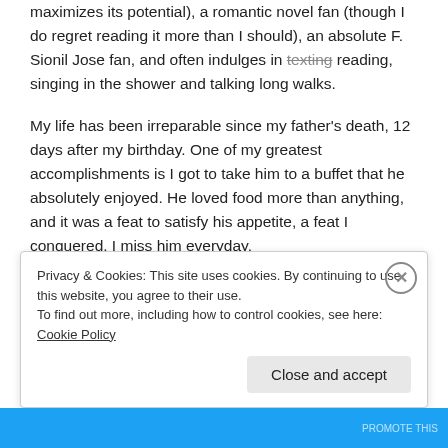maximizes its potential), a romantic novel fan (though I do regret reading it more than I should), an absolute F. Sionil Jose fan, and often indulges in texting reading, singing in the shower and talking long walks.
My life has been irreparable since my father's death, 12 days after my birthday. One of my greatest accomplishments is I got to take him to a buffet that he absolutely enjoyed. He loved food more than anything, and it was a feat to satisfy his appetite, a feat I conquered. I miss him everyday.
I've successfully completed my training and am now part
Privacy & Cookies: This site uses cookies. By continuing to use this website, you agree to their use.
To find out more, including how to control cookies, see here: Cookie Policy
Close and accept